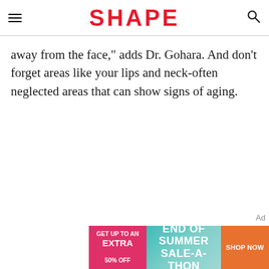SHAPE
away from the face," adds Dr. Gohara. And don't forget areas like your lips and neck-often neglected areas that can show signs of aging.
[Figure (other): Advertisement banner: GET UP TO AN EXTRA 50% OFF | END OF SUMMER SALE-A-THON | SHOP NOW]